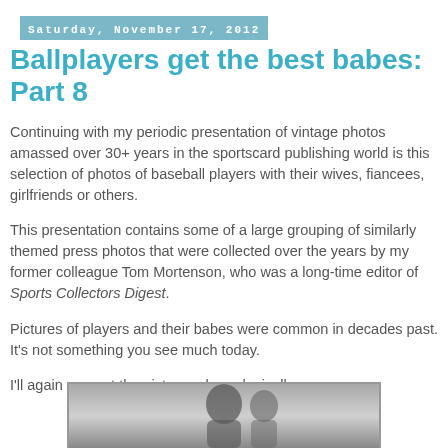Saturday, November 17, 2012
Ballplayers get the best babes: Part 8
Continuing with my periodic presentation of vintage photos amassed over 30+ years in the sportscard publishing world is this selection of photos of baseball players with their wives, fiancees, girlfriends or others.
This presentation contains some of a large grouping of similarly themed press photos that were collected over the years by my former colleague Tom Mortenson, who was a long-time editor of Sports Collectors Digest.
Pictures of players and their babes were common in decades past. It's not something you see much today.
I'll again present the pictures chronologically.
[Figure (photo): Black and white vintage photo of a baseball player and a woman, shown partially at the bottom of the page]